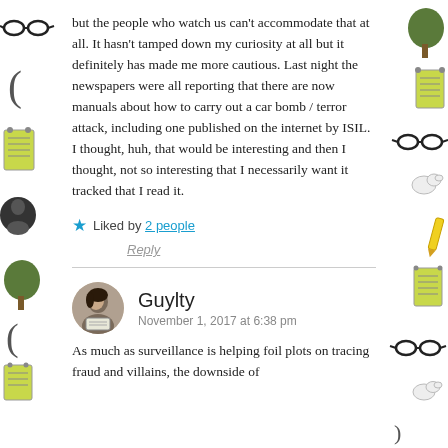but the people who watch us can't accommodate that at all. It hasn't tamped down my curiosity at all but it definitely has made me more cautious. Last night the newspapers were all reporting that there are now manuals about how to carry out a car bomb / terror attack, including one published on the internet by ISIL. I thought, huh, that would be interesting and then I thought, not so interesting that I necessarily want it tracked that I read it.
★ Liked by 2 people
Reply
Guylty
November 1, 2017 at 6:38 pm
As much as surveillance is helping foil plots on tracing fraud and villains, the downside of